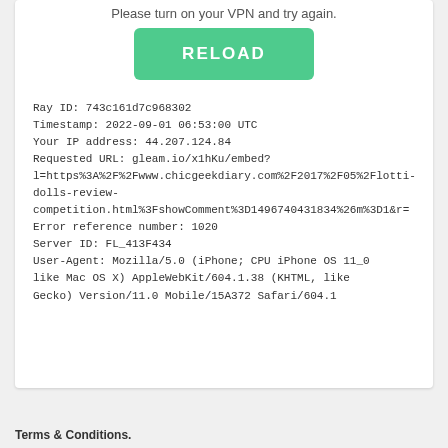Please turn on your VPN and try again.
RELOAD
Ray ID: 743c161d7c968302
Timestamp: 2022-09-01 06:53:00 UTC
Your IP address: 44.207.124.84
Requested URL: gleam.io/x1hKu/embed?l=https%3A%2F%2Fwww.chicgeekdiary.com%2F2017%2F05%2Flotti-dolls-review-competition.html%3FshowComment%3D1496740431834%26m%3D1&r=
Error reference number: 1020
Server ID: FL_413F434
User-Agent: Mozilla/5.0 (iPhone; CPU iPhone OS 11_0 like Mac OS X) AppleWebKit/604.1.38 (KHTML, like Gecko) Version/11.0 Mobile/15A372 Safari/604.1
Terms & Conditions.